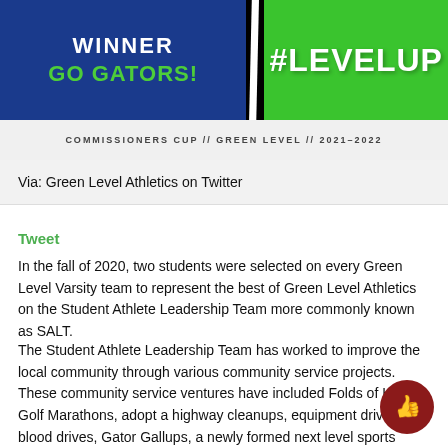[Figure (photo): Banner image showing 'WINNER / GO GATORS!' on a blue background on the left, and '#LEVELUP' on a green background on the right, with white diagonal divider. Bottom bar reads: COMMISSIONERS CUP // GREEN LEVEL // 2021-2022]
Via: Green Level Athletics on Twitter
Tweet
In the fall of 2020, two students were selected on every Green Level Varsity team to represent the best of Green Level Athletics on the Student Athlete Leadership Team more commonly known as SALT.
The Student Athlete Leadership Team has worked to improve the local community through various community service projects. These community service ventures have included Folds of Honor Golf Marathons, adopt a highway cleanups, equipment drives, blood drives, Gator Gallups, a newly formed next level sports program, and much more.